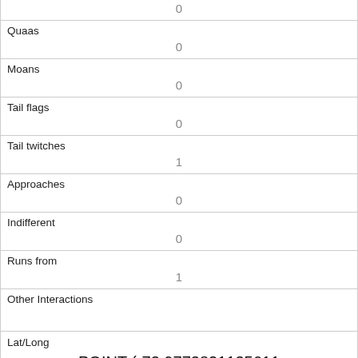| 0 |
| Quaas | 0 |
| Moans | 0 |
| Tail flags | 0 |
| Tail twitches | 1 |
| Approaches | 0 |
| Indifferent | 0 |
| Runs from | 1 |
| Other Interactions |  |
| Lat/Long | POINT (-73.9773821135611 40.7690453494383) |
| Link |  |